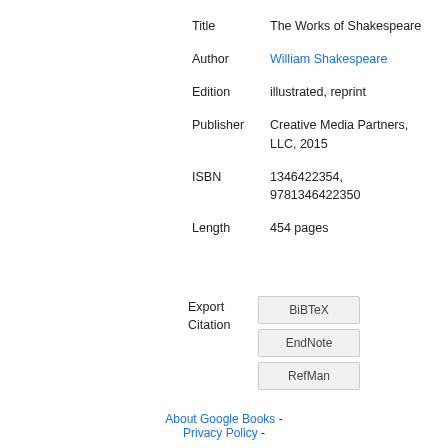| Field | Value |
| --- | --- |
| Title | The Works of Shakespeare |
| Author | William Shakespeare |
| Edition | illustrated, reprint |
| Publisher | Creative Media Partners, LLC, 2015 |
| ISBN | 1346422354, 9781346422350 |
| Length | 454 pages |
Export Citation: BiBTeX / EndNote / RefMan
About Google Books - Privacy Policy -